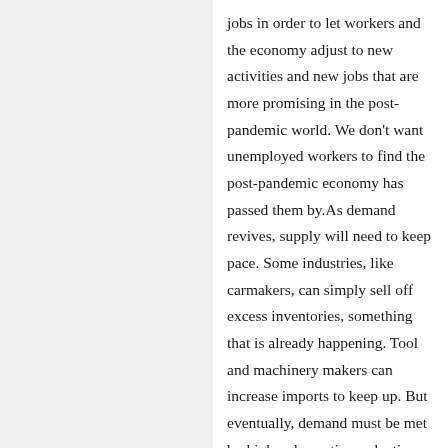jobs in order to let workers and the economy adjust to new activities and new jobs that are more promising in the post-pandemic world. We don't want unemployed workers to find the post-pandemic economy has passed them by.As demand revives, supply will need to keep pace. Some industries, like carmakers, can simply sell off excess inventories, something that is already happening. Tool and machinery makers can increase imports to keep up. But eventually, demand must be met by higher domestic production from workers. Once businesses are freed from pandemic restrictions, we can expect to